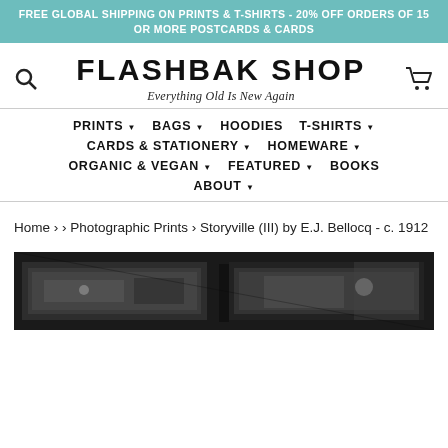FREE GLOBAL SHIPPING ON PRINTS & T-SHIRTS - 20% OFF ORDERS OF 15 OR MORE POSTCARDS & CARDS
FLASHBAK SHOP
Everything Old Is New Again
PRINTS  BAGS  HOODIES  T-SHIRTS  CARDS & STATIONERY  HOMEWARE  ORGANIC & VEGAN  FEATURED  BOOKS  ABOUT
Home › › Photographic Prints › Storyville (III) by E.J. Bellocq - c. 1912
[Figure (photo): A dark black and white photograph showing framed pictures or windows in a dimly lit room, partial view]